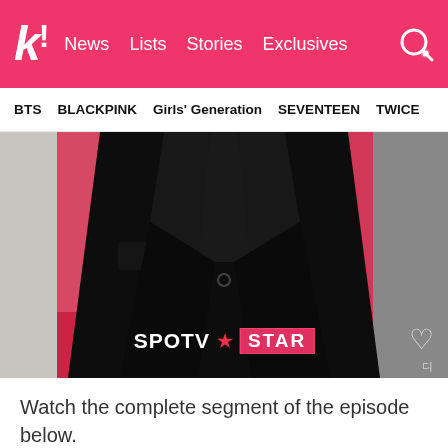k! News  Lists  Stories  Exclusives
BTS  BLACKPINK  Girls' Generation  SEVENTEEN  TWICE
[Figure (photo): Person wearing black suit jacket against red/pink and grey photocall backdrop, with SPOTV STAR watermark logo visible at bottom center]
Watch the complete segment of the episode below.
[Figure (screenshot): SBS ENTER. video thumbnail showing Korean text ticker and three-dot menu icon]